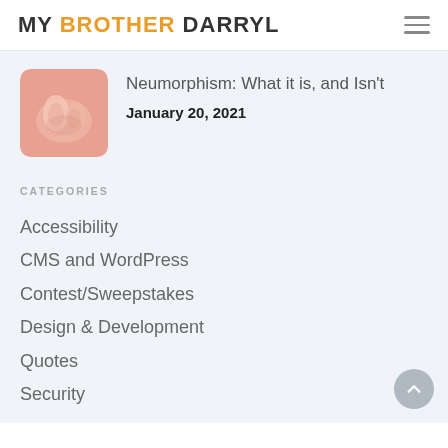MY BROTHER DARRYL
[Figure (illustration): Neumorphism-style illustration: soft pink 3D rounded hand/finger shapes on pink background]
Neumorphism: What it is, and Isn't
January 20, 2021
CATEGORIES
Accessibility
CMS and WordPress
Contest/Sweepstakes
Design & Development
Quotes
Security